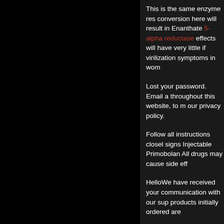This is the same enzyme res conversion here will result in Enanthate 5-alpha reductase effects will have very little if virilization symptoms in wom
Lost your password. Email a throughout this website, to m our privacy policy.
Follow all instructions closel signs Injectable Primobolan All drugs may cause side eff
HelloWe have received your communication with our sup products initially ordered are
It is said that doses abov Methenolone over mg pe amazing result.